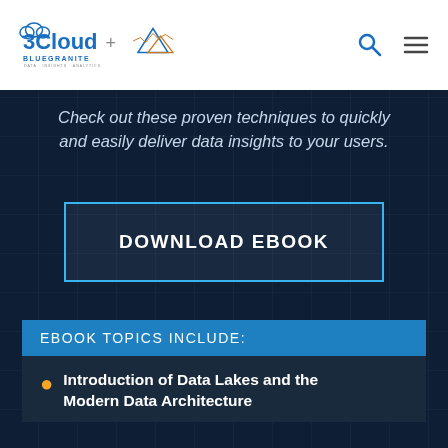3Cloud + BlueGranite — Data · Insights · Analytics
Check out these proven techniques to quickly and easily deliver data insights to your users.
DOWNLOAD EBOOK
EBOOK TOPICS INCLUDE:
Introduction of Data Lakes and the Modern Data Architecture